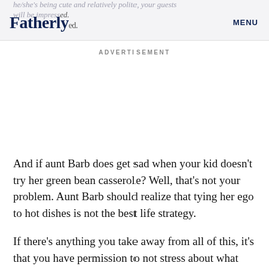Fatherly MENU
ADVERTISEMENT
And if aunt Barb does get sad when your kid doesn’t try her green bean casserole? Well, that’s not your problem. Aunt Barb should realize that tying her ego to hot dishes is not the best life strategy.
If there’s anything you take away from all of this, it’s that you have permission to not stress about what your kid eats. Thanksgiving. Your job is to make sure